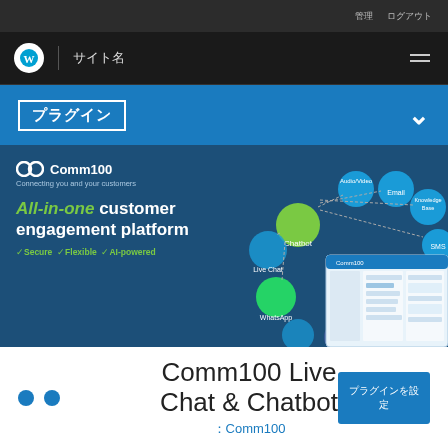管理 ログアウト
サイト名
プラグイン
[Figure (screenshot): Comm100 All-in-one customer engagement platform banner showing Chatbot, Audio/Video, Email, Knowledge Base, SMS, Live Chat, WhatsApp, WeChat, Facebook channels with a dashboard screenshot]
Comm100 Live Chat & Chatbot
：Comm100
プラグインを設定